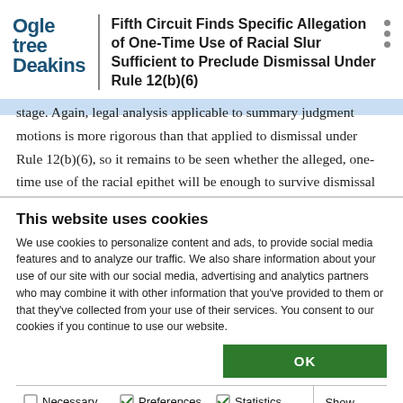Fifth Circuit Finds Specific Allegation of One-Time Use of Racial Slur Sufficient to Preclude Dismissal Under Rule 12(b)(6)
stage. Again, legal analysis applicable to summary judgment motions is more rigorous than that applied to dismissal under Rule 12(b)(6), so it remains to be seen whether the alleged, one-time use of the racial epithet will be enough to survive dismissal
This website uses cookies
We use cookies to personalize content and ads, to provide social media features and to analyze our traffic. We also share information about your use of our site with our social media, advertising and analytics partners who may combine it with other information that you've provided to them or that they've collected from your use of their services. You consent to our cookies if you continue to use our website.